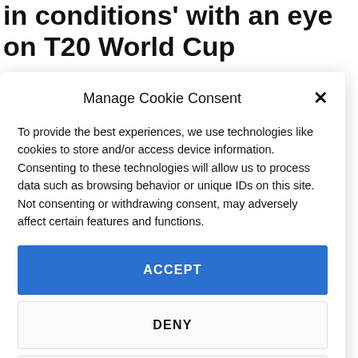in conditions' with an eye on T20 World Cup
Manage Cookie Consent
To provide the best experiences, we use technologies like cookies to store and/or access device information. Consenting to these technologies will allow us to process data such as browsing behavior or unique IDs on this site. Not consenting or withdrawing consent, may adversely affect certain features and functions.
ACCEPT
DENY
VIEW PREFERENCES